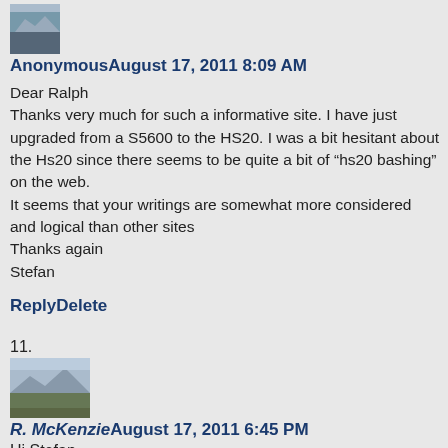[Figure (photo): Small avatar thumbnail image at top, appears to be a landscape or mountain scene]
AnonymousAugust 17, 2011 8:09 AM
Dear Ralph
Thanks very much for such a informative site. I have just upgraded from a S5600 to the HS20. I was a bit hesitant about the Hs20 since there seems to be quite a bit of “hs20 bashing” on the web.
It seems that your writings are somewhat more considered and logical than other sites
Thanks again
Stefan
ReplyDelete
11.
[Figure (photo): Landscape thumbnail showing lake and hills/mountains]
R. McKenzieAugust 17, 2011 6:45 PM
Hi Stefan